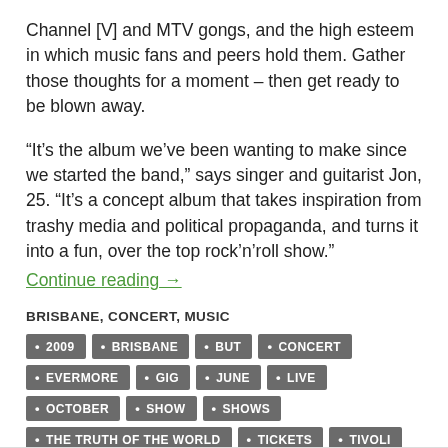Channel [V] and MTV gongs, and the high esteem in which music fans and peers hold them. Gather those thoughts for a moment – then get ready to be blown away.
“It’s the album we’ve been wanting to make since we started the band,” says singer and guitarist Jon, 25. “It’s a concept album that takes inspiration from trashy media and political propaganda, and turns it into a fun, over the top rock’n’roll show.”
Continue reading →
BRISBANE, CONCERT, MUSIC
2009
BRISBANE
BUT
CONCERT
EVERMORE
GIG
JUNE
LIVE
OCTOBER
SHOW
SHOWS
THE TRUTH OF THE WORLD
TICKETS
TIVOLI
TOUR